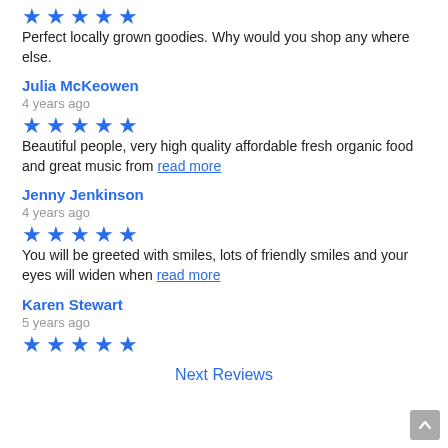Perfect locally grown goodies. Why would you shop any where else.
Julia McKeowen
4 years ago
Beautiful people, very high quality affordable fresh organic food and great music from read more
Jenny Jenkinson
4 years ago
You will be greeted with smiles, lots of friendly smiles and your eyes will widen when read more
Karen Stewart
5 years ago
Next Reviews